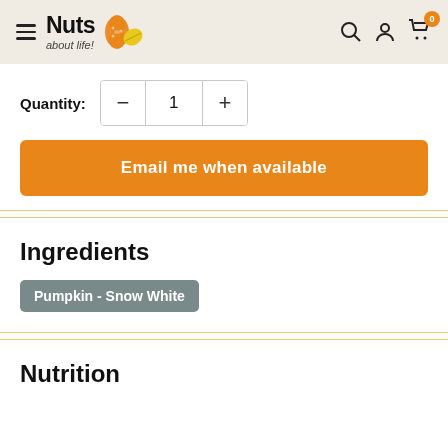Nuts about life! — navigation header with search, account, cart icons
Quantity: 1
Email me when available
Ingredients
Pumpkin - Snow White
Nutrition